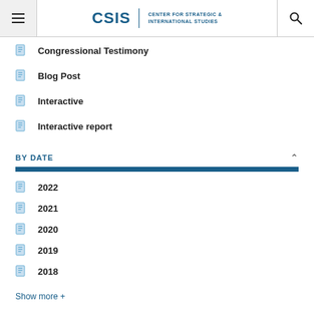CSIS | CENTER FOR STRATEGIC & INTERNATIONAL STUDIES
Congressional Testimony
Blog Post
Interactive
Interactive report
BY DATE
2022
2021
2020
2019
2018
Show more +